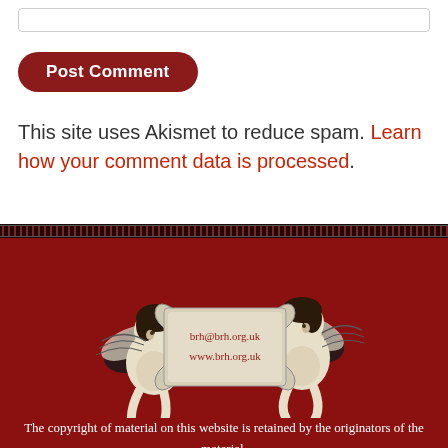[Website input field]
Post Comment
This site uses Akismet to reduce spam. Learn how your comment data is processed.
[Figure (illustration): Red footer background with decorative geometric border band at top, two black-and-white cherub/putti figures on either side holding a scroll banner that reads 'brh@brh.org.uk' and 'www.brh.org.uk']
The copyright of material on this website is retained by the originators of the material.